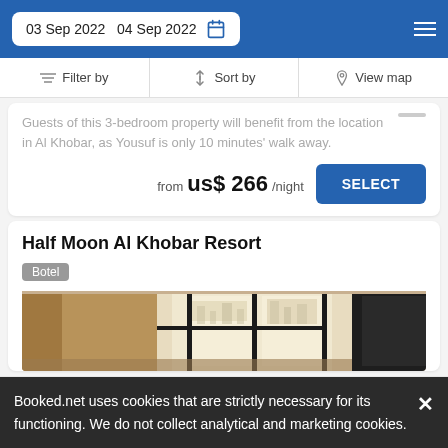03 Sep 2022   04 Sep 2022
Filter by   Sort by   View map
Guests of this 3-bedroom property will benefit from the location in Al Khobar, as Yousuf is only 10 minutes' walk away.
from  us$ 266/night
Half Moon Al Khobar Resort
Botel
[Figure (photo): Interior hotel room photo showing window with city view and dark furniture]
Booked.net uses cookies that are strictly necessary for its functioning. We do not collect analytical and marketing cookies.